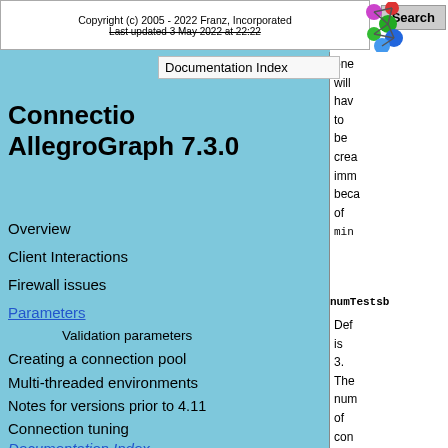Copyright (c) 2005 - 2022 Franz, Incorporated
Last updated 3 May 2022 at 22:22
Connection
AllegroGraph 7.3.0
Documentation Index
Overview
Client Interactions
Firewall issues
Parameters
Validation parameters
Creating a connection pool
Multi-threaded environments
Notes for versions prior to 4.11
Connection tuning
Documentation Index
one will be created immediately because of min
numTestsB
Def is 3. The num of con